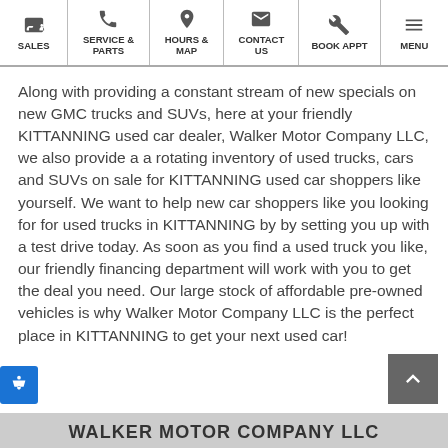SALES | SERVICE & PARTS | HOURS & MAP | CONTACT US | BOOK APPT | MENU
Along with providing a constant stream of new specials on new GMC trucks and SUVs, here at your friendly KITTANNING used car dealer, Walker Motor Company LLC, we also provide a a rotating inventory of used trucks, cars and SUVs on sale for KITTANNING used car shoppers like yourself. We want to help new car shoppers like you looking for for used trucks in KITTANNING by by setting you up with a test drive today. As soon as you find a used truck you like, our friendly financing department will work with you to get the deal you need. Our large stock of affordable pre-owned vehicles is why Walker Motor Company LLC is the perfect place in KITTANNING to get your next used car!
WALKER MOTOR COMPANY LLC